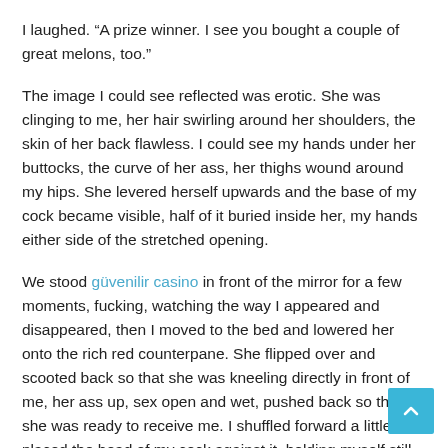I laughed. “A prize winner. I see you bought a couple of great melons, too.”
The image I could see reflected was erotic. She was clinging to me, her hair swirling around her shoulders, the skin of her back flawless. I could see my hands under her buttocks, the curve of her ass, her thighs wound around my hips. She levered herself upwards and the base of my cock became visible, half of it buried inside her, my hands either side of the stretched opening.
We stood güvenilir casino in front of the mirror for a few moments, fucking, watching the way I appeared and disappeared, then I moved to the bed and lowered her onto the rich red counterpane. She flipped over and scooted back so that she was kneeling directly in front of me, her ass up, sex open and wet, pushed back so that she was ready to receive me. I shuffled forward a little and placed the head of my cock against it, holding myself still for a moment before easing forward. I watched as her loins swallo me, her labia easing aside and the head of my cock disappearing